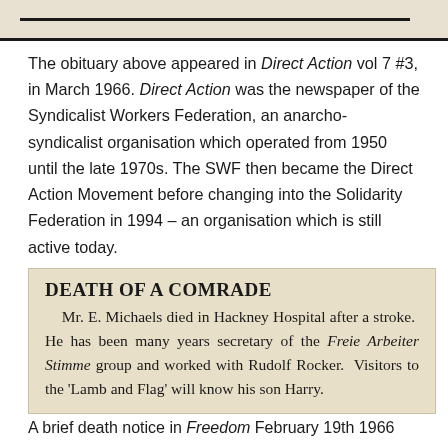[Figure (other): Top portion of a scanned document page showing a horizontal black rule line on aged paper background]
The obituary above appeared in Direct Action vol 7 #3, in March 1966. Direct Action was the newspaper of the Syndicalist Workers Federation, an anarcho-syndicalist organisation which operated from 1950 until the late 1970s. The SWF then became the Direct Action Movement before changing into the Solidarity Federation in 1994 – an organisation which is still active today.
[Figure (photo): Scanned newspaper clipping with aged yellowed background containing the text 'DEATH OF A COMRADE' followed by an obituary for Mr. E. Michaels]
A brief death notice in Freedom February 19th 1966